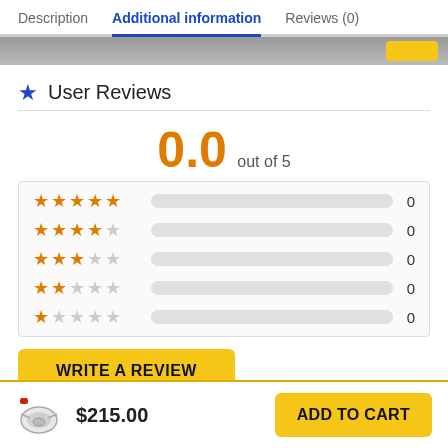Description | Additional information | Reviews (0)
User Reviews
0.0 out of 5
| Stars | Bar | Count |
| --- | --- | --- |
| ★★★★★ |  | 0 |
| ★★★★☆ |  | 0 |
| ★★★☆☆ |  | 0 |
| ★★☆☆☆ |  | 0 |
| ★☆☆☆☆ |  | 0 |
WRITE A REVIEW
$215.00
ADD TO CART